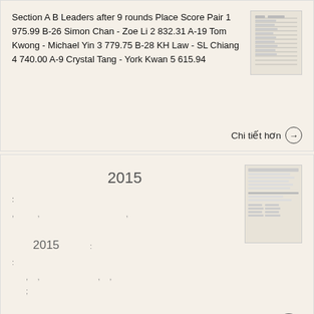Section A B Leaders after 9 rounds Place Score Pair 1 975.99 B-26 Simon Chan - Zoe Li 2 832.31 A-19 Tom Kwong - Michael Yin 3 779.75 B-28 KH Law - SL Chiang 4 740.00 A-9 Crystal Tang - York Kwan 5 615.94
Chi tiết hơn →
2015
2015
Chi tiết hơn →